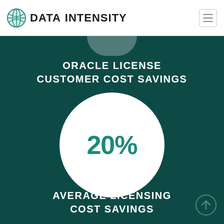[Figure (logo): Data Intensity logo with teal globe icon and bold text]
ORACLE LICENSE CUSTOMER COST SAVINGS
[Figure (infographic): Large white circle on dark teal background displaying '20%']
AVERAGE LICENSING COST SAVINGS